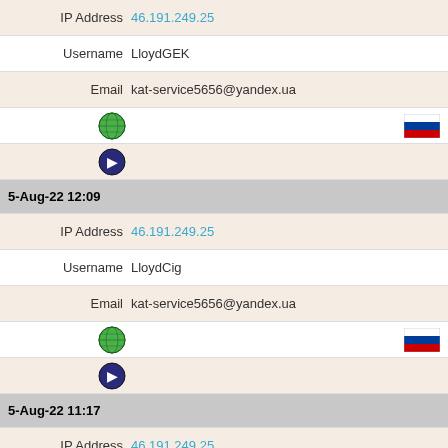| IP Address | 46.191.249.25 |
| Username | LloydGEK |
| Email | kat-service5656@yandex.ua |
| [globe icon] | [ru flag] |
| [hand icon] |  |
| 5-Aug-22 12:09 |  |
| IP Address | 46.191.249.25 |
| Username | LloydCig |
| Email | kat-service5656@yandex.ua |
| [globe icon] | [ru flag] |
| [hand icon] |  |
| 5-Aug-22 11:17 |  |
| IP Address | 46.191.249.25 |
| Username | Lloydnum |
| Email | kat-service5656@yandex.ua |
| [globe icon] | [ru flag] |
| [hand icon] |  |